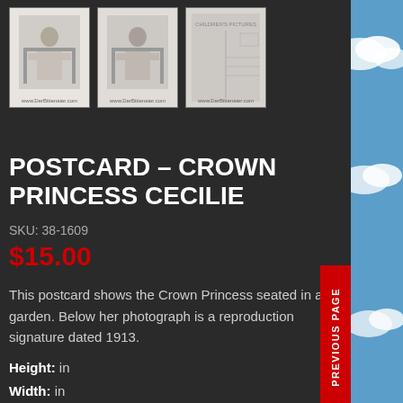[Figure (photo): Three thumbnail images of Crown Princess Cecilie postcard product photos on a dark background]
POSTCARD – CROWN PRINCESS CECILIE
SKU: 38-1609
$15.00
This postcard shows the Crown Princess seated in a garden. Below her photograph is a reproduction signature dated 1913.
Height: in
Width: in
Length: in
This postcard shows the Crown Princess seated in a garden. Below her photograph is a reproduction signature dated 1913.